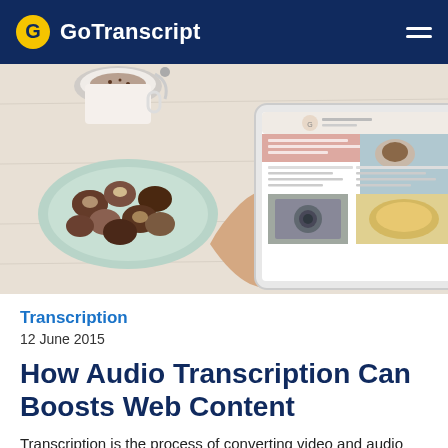GoTranscript
[Figure (photo): A person holding a tablet displaying a blog/magazine layout, with a plate of chocolate truffles and a cup of coffee on a white wooden table in the background.]
Transcription
12 June 2015
How Audio Transcription Can Boosts Web Content
Transcription is the process of converting video and audio